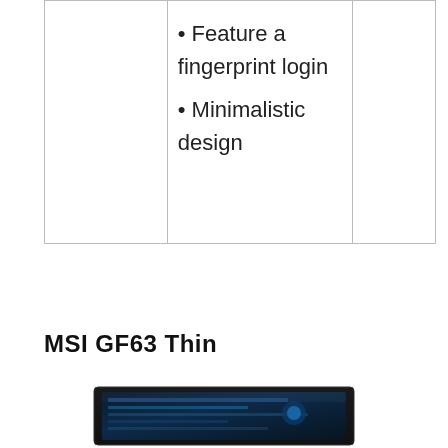|  | • Feature a fingerprint login
• Minimalistic design |  |
MSI GF63 Thin
[Figure (photo): Partial view of a laptop (MSI GF63 Thin) showing the screen from above, with a dark gaming-style display visible.]